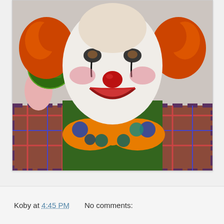[Figure (photo): Portrait photo of a clown with white face makeup, red nose, orange curly hair on the sides of a bald head, dark eye makeup, red lips, wearing an orange polka-dot bow tie with blue and teal glitter dots, a green glitter vest, and a plaid jacket. The clown holds a green glittery hat with a pink flower.]
Koby at 4:45 PM    No comments: